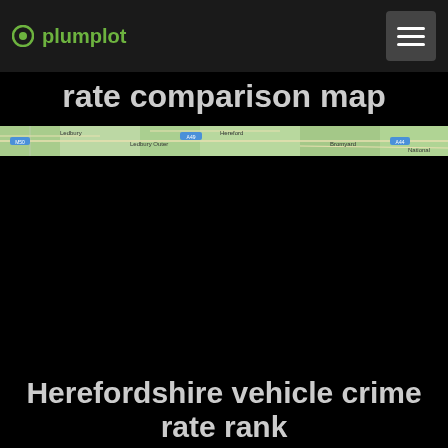plumplot
rate comparison map
[Figure (map): Horizontal map strip showing a geographic comparison map with green terrain, roads, and place labels. 'National' label visible on the right.]
Herefordshire vehicle crime rate rank